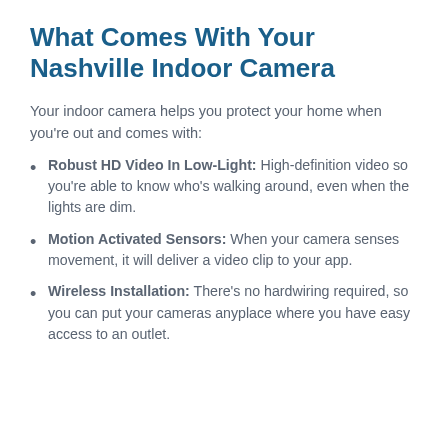What Comes With Your Nashville Indoor Camera
Your indoor camera helps you protect your home when you're out and comes with:
Robust HD Video In Low-Light: High-definition video so you're able to know who's walking around, even when the lights are dim.
Motion Activated Sensors: When your camera senses movement, it will deliver a video clip to your app.
Wireless Installation: There's no hardwiring required, so you can put your cameras anyplace where you have easy access to an outlet.